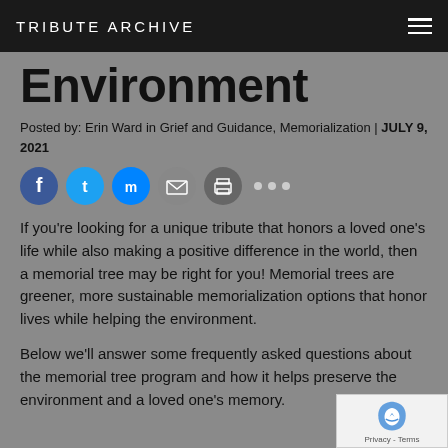TRIBUTE ARCHIVE
Environment
Posted by: Erin Ward in Grief and Guidance, Memorialization | JULY 9, 2021
[Figure (infographic): Social sharing icons: Facebook, Twitter, Messenger, Email, Print, and additional options (dots)]
If you’re looking for a unique tribute that honors a loved one’s life while also making a positive difference in the world, then a memorial tree may be right for you! Memorial trees are greener, more sustainable memorialization options that honor lives while helping the environment.
Below we’ll answer some frequently asked questions about the memorial tree program and how it helps preserve the environment and a loved one’s memory.